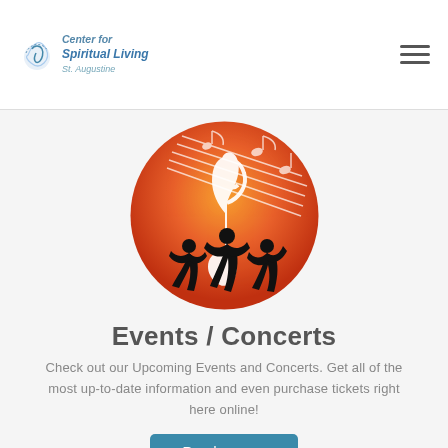Center for Spiritual Living St. Augustine
[Figure (illustration): Circular illustration with orange-red gradient background showing silhouettes of three dancing women and a large treble clef with musical notes]
Events / Concerts
Check out our Upcoming Events and Concerts. Get all of the most up-to-date information and even purchase tickets right here online!